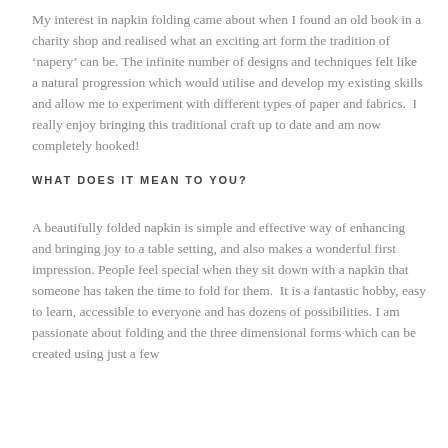My interest in napkin folding came about when I found an old book in a charity shop and realised what an exciting art form the tradition of ‘napery’ can be. The infinite number of designs and techniques felt like a natural progression which would utilise and develop my existing skills and allow me to experiment with different types of paper and fabrics.  I really enjoy bringing this traditional craft up to date and am now completely hooked!
WHAT DOES IT MEAN TO YOU?
A beautifully folded napkin is simple and effective way of enhancing and bringing joy to a table setting, and also makes a wonderful first impression. People feel special when they sit down with a napkin that someone has taken the time to fold for them.  It is a fantastic hobby, easy to learn, accessible to everyone and has dozens of possibilities. I am passionate about folding and the three dimensional forms which can be created using just a few